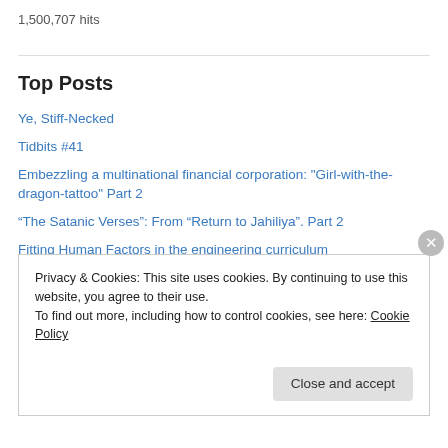1,500,707 hits
Top Posts
Ye, Stiff-Necked
Tidbits #41
Embezzling a multinational financial corporation: "Girl-with-the-dragon-tattoo" Part 2
“The Satanic Verses”: From “Return to Jahiliya”. Part 2
Fitting Human Factors in the engineering curriculum
"Library Antoine" Lebanon, Antoine Naufal, Kamal Ataturk, French mandate...
Privacy & Cookies: This site uses cookies. By continuing to use this website, you agree to their use.
To find out more, including how to control cookies, see here: Cookie Policy
Close and accept